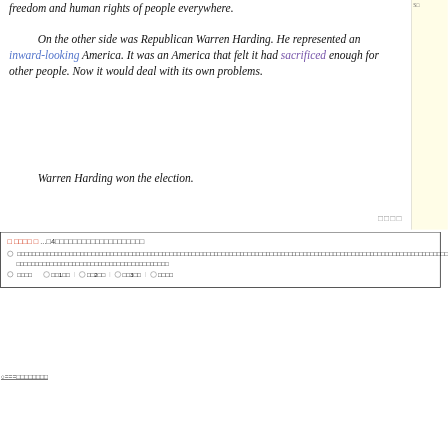freedom and human rights of people everywhere.
On the other side was Republican Warren Harding. He represented an inward-looking America. It was an America that felt it had sacrificed enough for other people. Now it would deal with its own problems.
Warren Harding won the election.
□□□□
| □ □□□□ □ ...□4□□□□□□□□□□□□□□□□□□□□ |
| ○ □□□□□□□□□□□□□□□□□□□□□□□□□□□□□□□□□□□□□□□□□□□□□□□□□□□□□□□□□□□□□□□□□□□□□□□□□□□□□□□□□□□□□□□□□□□□□□□□□□□□□□□□□□□□□□□□□□□□□□□□□□□□□□□□□□□□□□□□□□□□□□□□□□□□□□□□□□□□□□□□□□□□□□□□□□□□□□□□□□□□□□□□□□□□□□□□□□□□□□□□□□□□□□□□□□□□□□□□□□□□□□□□□□□□□□□□□□□□□□□□□□□□□□□□□□□□□□□□□□□□□□□□□□□□□□□□□ |
| ○ □□□□ ○□□1□□ | ○□□2□□ | ○□□3□□ | ○□□□□ |
○===□□□□□□□□